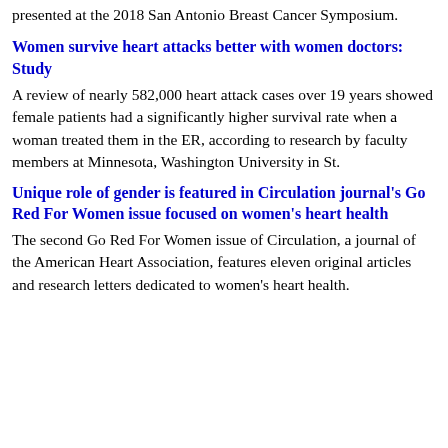presented at the 2018 San Antonio Breast Cancer Symposium.
Women survive heart attacks better with women doctors: Study
A review of nearly 582,000 heart attack cases over 19 years showed female patients had a significantly higher survival rate when a woman treated them in the ER, according to research by faculty members at Minnesota, Washington University in St.
Unique role of gender is featured in Circulation journal's Go Red For Women issue focused on women's heart health
The second Go Red For Women issue of Circulation, a journal of the American Heart Association, features eleven original articles and research letters dedicated to women's heart health.